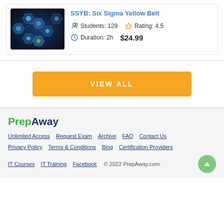[Figure (screenshot): Course thumbnail image showing blue hexagonal technology/IoT icons on a dark background]
SSYB: Six Sigma Yellow Belt
Students: 129   Rating: 4.5   Duration: 2h   $24.99
VIEW ALL
[Figure (logo): PrepAway logo with green Prep and dark blue Away]
Unlimited Access   Request Exam   Archive   FAQ   Contact Us
Privacy Policy   Terms & Conditions   Blog   Certification Providers
IT Courses   IT Training   Facebook   © 2022 PrepAway.com